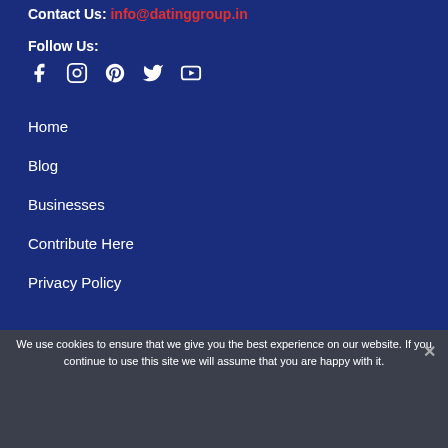Contact Us: info@datinggroup.in
Follow Us:
[Figure (infographic): Social media icons: Facebook, Instagram, Pinterest, Twitter, YouTube]
Home
Blog
Businesses
Contribute Here
Privacy Policy
We use cookies to ensure that we give you the best experience on our website. If you continue to use this site we will assume that you are happy with it.
Ok